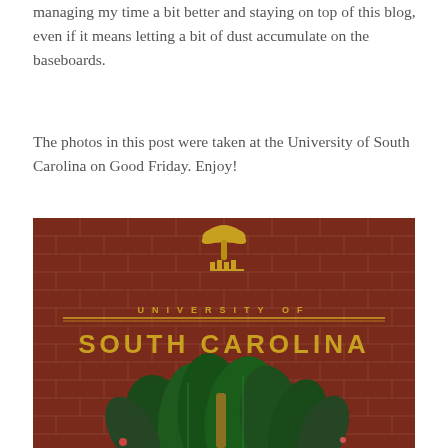managing my time a bit better and staying on top of this blog, even if it means letting a bit of dust accumulate on the baseboards.
The photos in this post were taken at the University of South Carolina on Good Friday. Enjoy!
[Figure (photo): Photo of a red brick wall with the University of South Carolina sign in gold letters, including the university seal/palmetto logo at the top, with green leafy plants in front of the sign.]